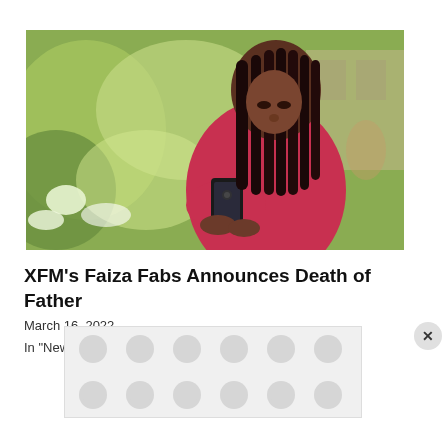[Figure (photo): Young woman with long dark braids looking down at a smartphone, wearing a pink/red shirt, with green plants and buildings in the background.]
XFM's Faiza Fabs Announces Death of Father
March 16, 2022
In "News"
[Figure (other): Advertisement banner with grey dotted/circular pattern background]